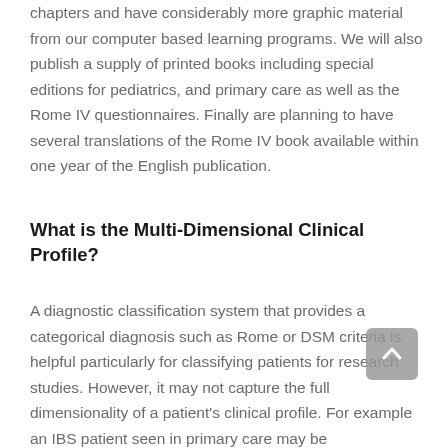chapters and have considerably more graphic material from our computer based learning programs. We will also publish a supply of printed books including special editions for pediatrics, and primary care as well as the Rome IV questionnaires. Finally are planning to have several translations of the Rome IV book available within one year of the English publication.
What is the Multi-Dimensional Clinical Profile?
A diagnostic classification system that provides a categorical diagnosis such as Rome or DSM criteria is helpful particularly for classifying patients for research studies. However, it may not capture the full dimensionality of a patient's clinical profile. For example an IBS patient seen in primary care may be